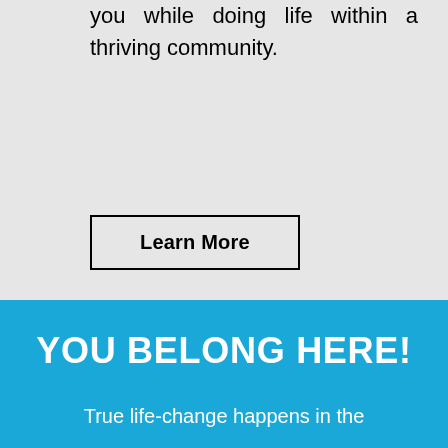you while doing life within a thriving community.
Learn More
YOU BELONG HERE!
True life-change happens in the